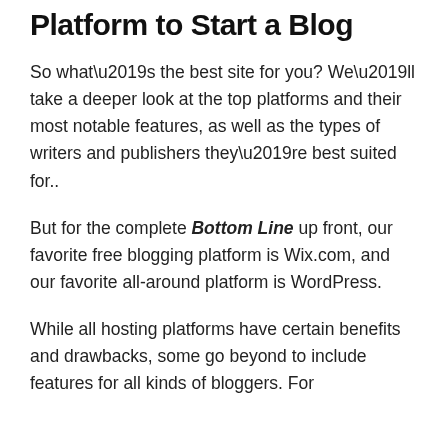Platform to Start a Blog
So what’s the best site for you? We’ll take a deeper look at the top platforms and their most notable features, as well as the types of writers and publishers they’re best suited for..
But for the complete Bottom Line up front, our favorite free blogging platform is Wix.com, and our favorite all-around platform is WordPress.
While all hosting platforms have certain benefits and drawbacks, some go beyond to include features for all kinds of bloggers. For